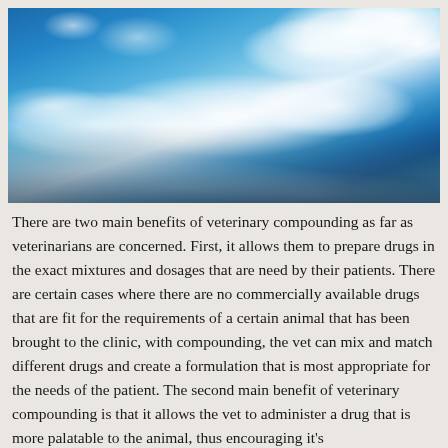[Figure (photo): Aerial photograph showing a view from above the clouds. Bright blue sky in the upper portion with white cumulus clouds billowing on the right side, and a dense layer of clouds below, with dark land/ocean visible through breaks in the lower cloud layer.]
There are two main benefits of veterinary compounding as far as veterinarians are concerned. First, it allows them to prepare drugs in the exact mixtures and dosages that are need by their patients. There are certain cases where there are no commercially available drugs that are fit for the requirements of a certain animal that has been brought to the clinic, with compounding, the vet can mix and match different drugs and create a formulation that is most appropriate for the needs of the patient. The second main benefit of veterinary compounding is that it allows the vet to administer a drug that is more palatable to the animal, thus encouraging it's